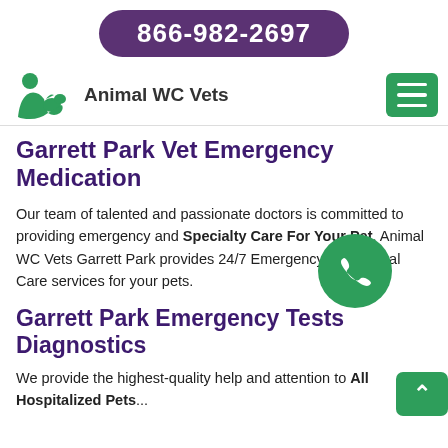866-982-2697
Animal WC Vets
Garrett Park Vet Emergency Medication
Our team of talented and passionate doctors is committed to providing emergency and Specialty Care For Your Pet. Animal WC Vets Garrett Park provides 24/7 Emergency and Critical Care services for your pets.
Garrett Park Emergency Tests Diagnostics
We provide the highest-quality help and attention to All Hospitalized Pets...